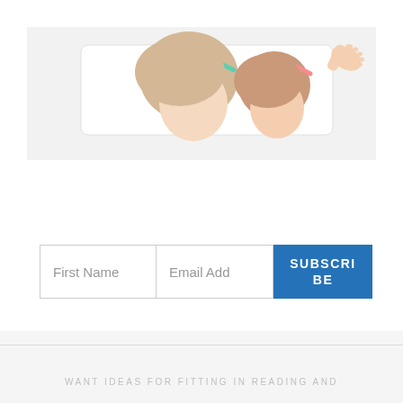[Figure (photo): Two young blonde girls with headbands (one teal, one pink/coral) sitting together on a white chair, looking down at something. A foot is visible in the upper right corner. Photo has a light, airy, white background feel.]
First Name
Email Add
SUBSCRIBE
WANT IDEAS FOR FITTING IN READING AND